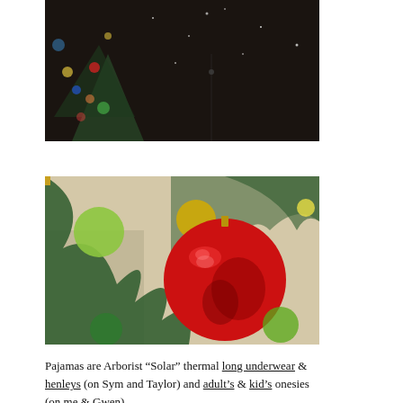[Figure (photo): Dark photo showing a person in dark clothing near a Christmas tree with lights and colorful ornaments, with snow visible]
[Figure (photo): Close-up photo of a shiny red Christmas ornament hanging on a green tree, with yellow and green ornaments also visible]
Pajamas are Arborist “Solar” thermal long underwear & henleys (on Sym and Taylor) and adult’s & kid’s onesies (on me & Gwen)